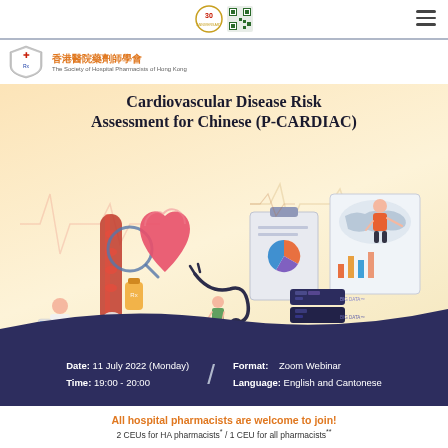[Figure (logo): 30th anniversary and QR code logos in page header]
[Figure (logo): Society of Hospital Pharmacists of Hong Kong logo and Chinese name in organization bar]
Cardiovascular Disease Risk Assessment for Chinese (P-CARDIAC)
[Figure (illustration): Medical illustration showing heart, stethoscope, blood vessel, data charts, doctors and pharmacists with healthcare theme on gradient yellow-pink background]
Date: 11 July 2022 (Monday) / Format: Zoom Webinar
Time: 19:00 - 20:00 / Language: English and Cantonese
All hospital pharmacists are welcome to join!
2 CEUs for HA pharmacists* / 1 CEU for all pharmacists**